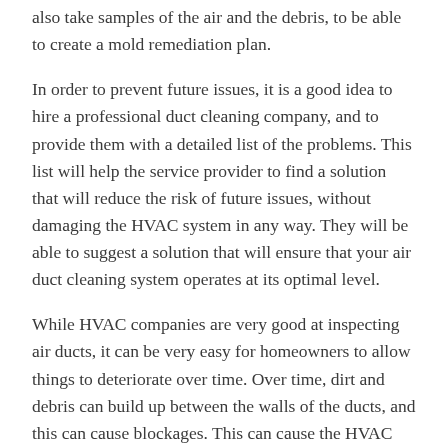also take samples of the air and the debris, to be able to create a mold remediation plan.
In order to prevent future issues, it is a good idea to hire a professional duct cleaning company, and to provide them with a detailed list of the problems. This list will help the service provider to find a solution that will reduce the risk of future issues, without damaging the HVAC system in any way. They will be able to suggest a solution that will ensure that your air duct cleaning system operates at its optimal level.
While HVAC companies are very good at inspecting air ducts, it can be very easy for homeowners to allow things to deteriorate over time. Over time, dirt and debris can build up between the walls of the ducts, and this can cause blockages. This can cause the HVAC system to work improperly, which can make it harder to cool and ventilate the home. If your HVAC system becomes dirty, it is